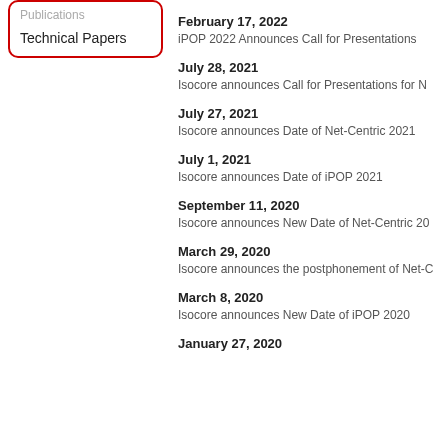Publications
Technical Papers
February 17, 2022
iPOP 2022 Announces Call for Presentations
July 28, 2021
Isocore announces Call for Presentations for N
July 27, 2021
Isocore announces Date of Net-Centric 2021
July 1, 2021
Isocore announces Date of iPOP 2021
September 11, 2020
Isocore announces New Date of Net-Centric 20
March 29, 2020
Isocore announces the postphonement of Net-C
March 8, 2020
Isocore announces New Date of iPOP 2020
January 27, 2020